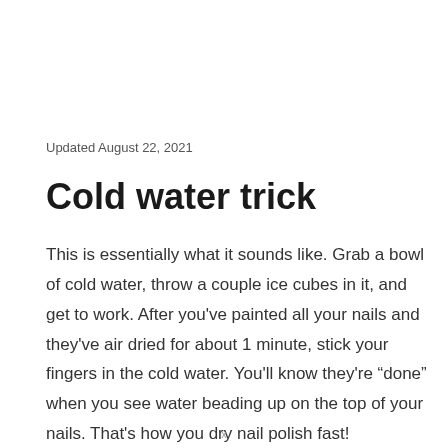Updated August 22, 2021
Cold water trick
This is essentially what it sounds like. Grab a bowl of cold water, throw a couple ice cubes in it, and get to work. After you've painted all your nails and they've air dried for about 1 minute, stick your fingers in the cold water. You'll know they're “done” when you see water beading up on the top of your nails. That's how you dry nail polish fast!